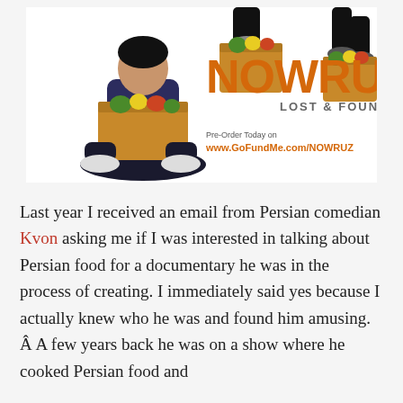[Figure (photo): Promotional image for 'NOWRUZ Lost & Found' documentary. Shows people with cardboard boxes containing food and flowers. Large orange text reads 'NOWRUZ', below it 'LOST & FOUND', and 'Pre-Order Today on www.GoFundMe.com/NOWRUZ'.]
Last year I received an email from Persian comedian Kvon asking me if I was interested in talking about Persian food for a documentary he was in the process of creating. I immediately said yes because I actually knew who he was and found him amusing. Â A few years back he was on a show where he cooked Persian food and